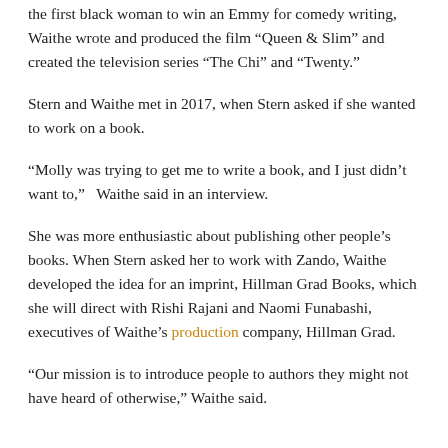the first black woman to win an Emmy for comedy writing, Waithe wrote and produced the film “Queen & Slim” and created the television series “The Chi” and “Twenty.”
Stern and Waithe met in 2017, when Stern asked if she wanted to work on a book.
“Molly was trying to get me to write a book, and I just didn’t want to,” Waithe said in an interview.
She was more enthusiastic about publishing other people’s books. When Stern asked her to work with Zando, Waithe developed the idea for an imprint, Hillman Grad Books, which she will direct with Rishi Rajani and Naomi Funabashi, executives of Waithe’s production company, Hillman Grad.
“Our mission is to introduce people to authors they might not have heard of otherwise,” Waithe said.